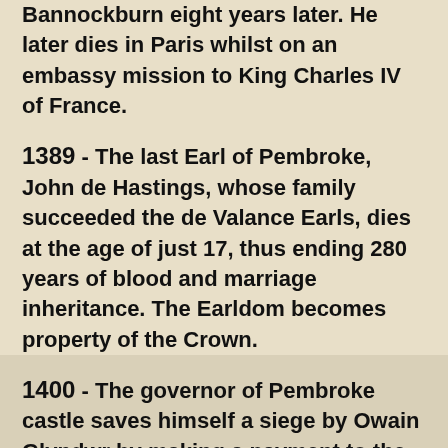Bannockburn eight years later. He later dies in Paris whilst on an embassy mission to King Charles IV of France.
1389 - The last Earl of Pembroke, John de Hastings, whose family succeeded the de Valance Earls, dies at the age of just 17, thus ending 280 years of blood and marriage inheritance. The Earldom becomes property of the Crown.
1400 - The governor of Pembroke castle saves himself a siege by Owain Glyndwr by making a payment to the Welsh leader.
1453 - King Henry VI makes his half brother, Jasper Tudor Earl of Pembroke.